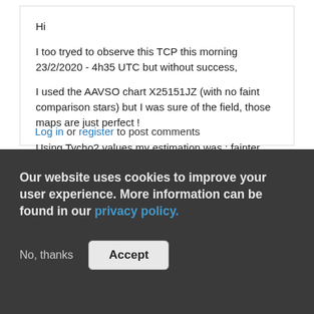Hi

I too tryed to observe this TCP this morning 23/2/2020 - 4h35 UTC but without success,

I used the AAVSO chart X25151JZ (with no faint comparison stars) but I was sure of the field, those maps are just perfect !

Using Tycho2 values my estimation was : fainter than +12.1

Michel
Log in or register to post comments
Our website uses cookies to improve your user experience. More information can be found in our privacy policy.
No, thanks   Accept